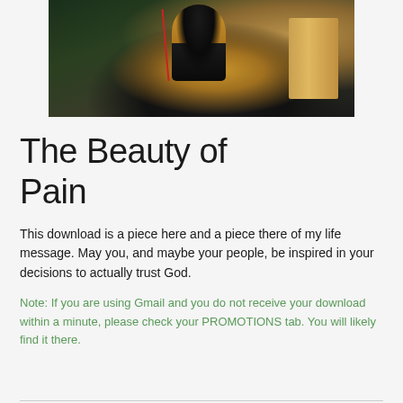[Figure (photo): A person in a yellow top standing at a wooden podium or lectern, photographed in a dark venue with stage lighting. A microphone stand is visible to the left.]
The Beauty of Pain
This download is a piece here and a piece there of my life message. May you, and maybe your people, be inspired in your decisions to actually trust God.
Note: If you are using Gmail and you do not receive your download within a minute, please check your PROMOTIONS tab. You will likely find it there.